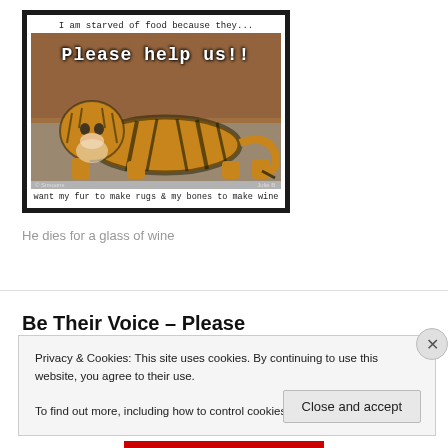[Figure (photo): A framed photo of a tiger lying down with overlaid text. Top text reads 'I am starved of food because they...' and overlay text reads 'Please help us!!' Bottom caption reads 'want my fur to make rugs & my bones to make wine'. Photo credits: © Simoons and Julie B.]
He dies for a glass of wine
Be Their Voice – Please
Privacy & Cookies: This site uses cookies. By continuing to use this website, you agree to their use.
To find out more, including how to control cookies, see here: Cookie Policy